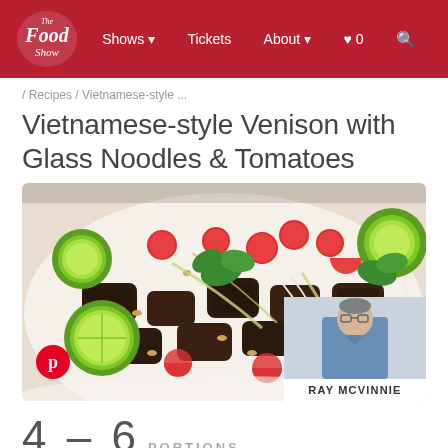The Food Show — Shows, Tickets, About, ♥ 0, Search
/ Recipes / Vietnamese-style ...
Vietnamese-style Venison with Glass Noodles & Tomatoes
[Figure (photo): Vietnamese-style venison dish with glass noodles, cherry tomatoes, lime halves, cilantro and peanuts on a white plate, with a Pinterest button overlay and a chef photo card showing RAY MCVINNIE]
4 – 6 PORTIONS